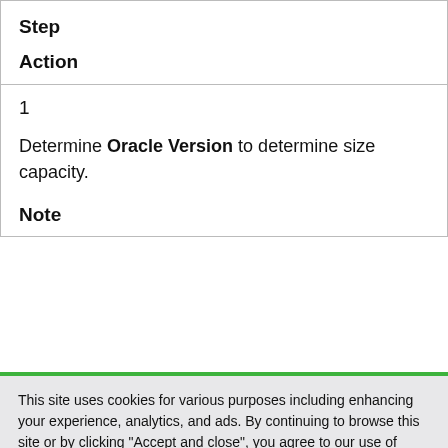| Step | Action |
| --- | --- |
| 1 | Determine Oracle Version to determine size capacity. |
This site uses cookies for various purposes including enhancing your experience, analytics, and ads. By continuing to browse this site or by clicking "Accept and close", you agree to our use of cookies. For more information, read our Cookies page.
Accept and close